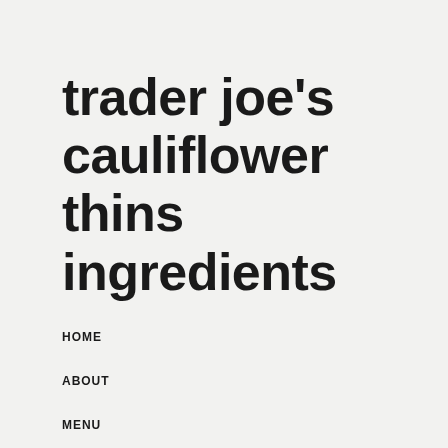trader joe's cauliflower thins ingredients
HOME
ABOUT
MENU